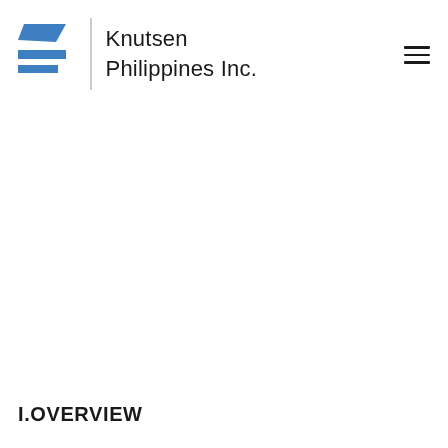[Figure (logo): Knutsen Philippines Inc. logo with blue chevron/parallelogram shapes on the left and company name text on the right, separated by a vertical divider line]
I.OVERVIEW